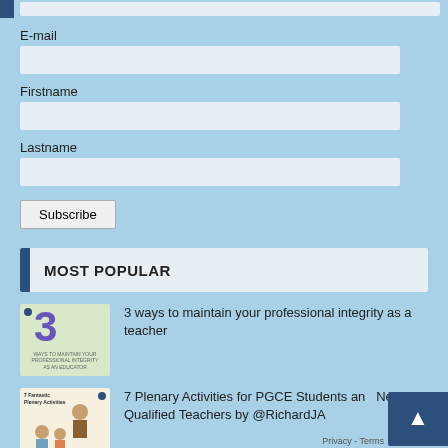E-mail
Firstname
Lastname
Subscribe
MOST POPULAR
[Figure (illustration): Thumbnail showing large number 3 in purple with text 'Ways to maintain your professional integrity as an educator']
3 ways to maintain your professional integrity as a teacher
[Figure (illustration): Thumbnail showing cartoon teacher and students with text '7 Fantastic Plenary Activities' and attribution 'by @RichardJAllen']
7 Plenary Activities for PGCE Students and Newly Qualified Teachers by @RichardJA
Privacy - Terms